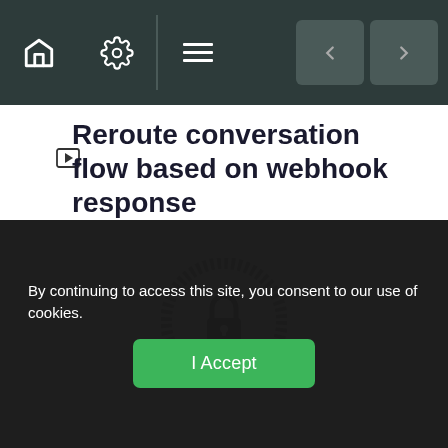Navigation bar with home, settings, menu icons and back/forward arrows
Reroute conversation flow based on webhook response
[Figure (illustration): Lock icon inside a decorative circular badge, indicating locked lecture content]
Lecture content locked
If you're already enrolled, you'll need to
By continuing to access this site, you consent to our use of cookies.
I Accept